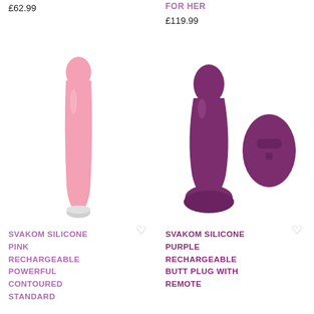£62.99
FOR HER
£119.99
[Figure (photo): Pink silicone rechargeable vibrator - SVAKOM product]
[Figure (photo): Purple silicone rechargeable butt plug with remote control - SVAKOM product]
SVAKOM SILICONE PINK RECHARGEABLE POWERFUL CONTOURED STANDARD
SVAKOM SILICONE PURPLE RECHARGEABLE BUTT PLUG WITH REMOTE